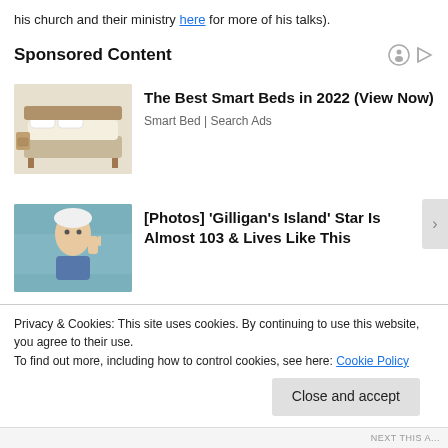his church and their ministry here for more of his talks).
Sponsored Content
[Figure (photo): Smart bed advertisement image showing a modern luxury bed with gadgets]
The Best Smart Beds in 2022 (View Now)
Smart Bed | Search Ads
[Figure (photo): Elderly man with white hair waving hand, Gilligan's Island advertisement]
[Photos] ‘Gilligan’s Island’ Star Is Almost 103 & Lives Like This
Privacy & Cookies: This site uses cookies. By continuing to use this website, you agree to their use.
To find out more, including how to control cookies, see here: Cookie Policy
Close and accept